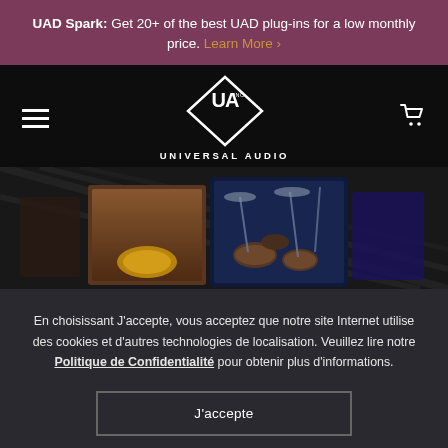UAD Spark: Get 20+ of the best UAD plug-ins for a low monthly price. Learn More ›
[Figure (logo): Universal Audio diamond logo with UA initials and INC. text]
[Figure (screenshot): Hero image showing Universal Audio plugin product cards including drum and instrument plugins]
En choisissant J'accepte, vous acceptez que notre site Internet utilise des cookies et d'autres technologies de localisation. Veuillez lire notre Politique de Confidentialité pour obtenir plus d'informations.
J'accepte